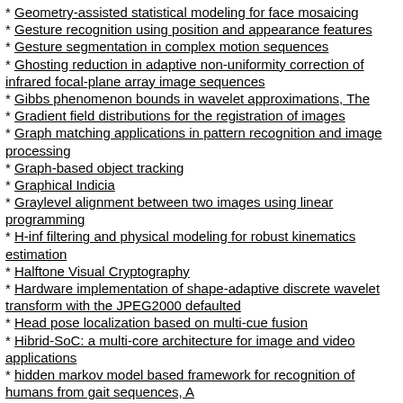* Geometry-assisted statistical modeling for face mosaicing
* Gesture recognition using position and appearance features
* Gesture segmentation in complex motion sequences
* Ghosting reduction in adaptive non-uniformity correction of infrared focal-plane array image sequences
* Gibbs phenomenon bounds in wavelet approximations, The
* Gradient field distributions for the registration of images
* Graph matching applications in pattern recognition and image processing
* Graph-based object tracking
* Graphical Indicia
* Graylevel alignment between two images using linear programming
* H-inf filtering and physical modeling for robust kinematics estimation
* Halftone Visual Cryptography
* Hardware implementation of shape-adaptive discrete wavelet transform with the JPEG2000 defaulted
* Head pose localization based on multi-cue fusion
* Hibrid-SoC: a multi-core architecture for image and video applications
* hidden markov model based framework for recognition of humans from gait sequences, A
* Hierarchical disparity estimation with energy-based